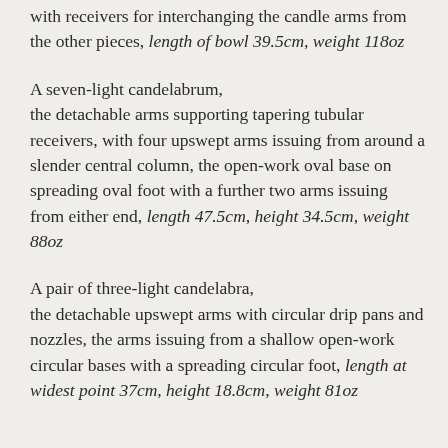with receivers for interchanging the candle arms from the other pieces, length of bowl 39.5cm, weight 118oz
A seven-light candelabrum, the detachable arms supporting tapering tubular receivers, with four upswept arms issuing from around a slender central column, the open-work oval base on spreading oval foot with a further two arms issuing from either end, length 47.5cm, height 34.5cm, weight 88oz
A pair of three-light candelabra, the detachable upswept arms with circular drip pans and nozzles, the arms issuing from a shallow open-work circular bases with a spreading circular foot, length at widest point 37cm, height 18.8cm, weight 81oz